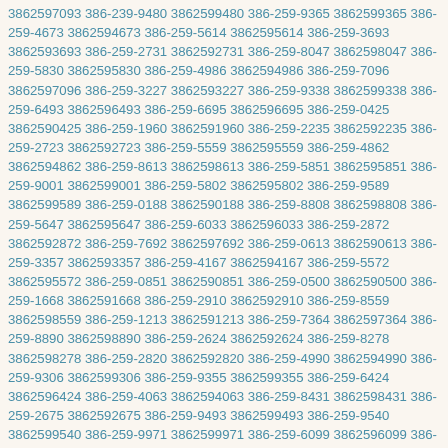3862597093 386-239-9480 3862599480 386-259-9365 3862599365 386-259-4673 3862594673 386-259-5614 3862595614 386-259-3693 3862593693 386-259-2731 3862592731 386-259-8047 3862598047 386-259-5830 3862595830 386-259-4986 3862594986 386-259-7096 3862597096 386-259-3227 3862593227 386-259-9338 3862599338 386-259-6493 3862596493 386-259-6695 3862596695 386-259-0425 3862590425 386-259-1960 3862591960 386-259-2235 3862592235 386-259-2723 3862592723 386-259-5559 3862595559 386-259-4862 3862594862 386-259-8613 3862598613 386-259-5851 3862595851 386-259-9001 3862599001 386-259-5802 3862595802 386-259-9589 3862599589 386-259-0188 3862590188 386-259-8808 3862598808 386-259-5647 3862595647 386-259-6033 3862596033 386-259-2872 3862592872 386-259-7692 3862597692 386-259-0613 3862590613 386-259-3357 3862593357 386-259-4167 3862594167 386-259-5572 3862595572 386-259-0851 3862590851 386-259-0500 3862590500 386-259-1668 3862591668 386-259-2910 3862592910 386-259-8559 3862598559 386-259-1213 3862591213 386-259-7364 3862597364 386-259-8890 3862598890 386-259-2624 3862592624 386-259-8278 3862598278 386-259-2820 3862592820 386-259-4990 3862594990 386-259-9306 3862599306 386-259-9355 3862599355 386-259-6424 3862596424 386-259-4063 3862594063 386-259-8431 3862598431 386-259-2675 3862592675 386-259-9493 3862599493 386-259-9540 3862599540 386-259-9971 3862599971 386-259-6099 3862596099 386-259-0002 3862590002 386-259-1782 3862591782 386-259-1398 3862591398 386-259-1100 3862591100 386-259-1387 3862591387 386-259-2397 3862592397 386-259-6438 3862596438 386-259-1480 3862591480 386-259-1222 3862591222 386-259-1265 3862591265 386-